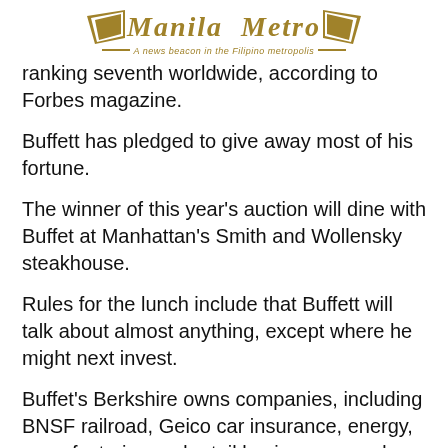Manila Metro — A news beacon in the Filipino metropolis
ranking seventh worldwide, according to Forbes magazine.
Buffett has pledged to give away most of his fortune.
The winner of this year's auction will dine with Buffet at Manhattan's Smith and Wollensky steakhouse.
Rules for the lunch include that Buffett will talk about almost anything, except where he might next invest.
Buffet's Berkshire owns companies, including BNSF railroad, Geico car insurance, energy, manufacturing and retail businesses, and large blocks of stocks, including Apple and Bank of America.